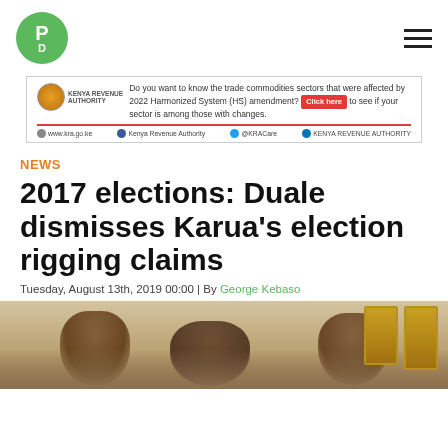PD logo and navigation
[Figure (infographic): Kenya Revenue Authority advertisement banner about 2022 Harmonized System (HS) amendment trade commodities sectors]
NEWS
2017 elections: Duale dismisses Karua’s election rigging claims
Tuesday, August 13th, 2019 00:00 | By George Kebaso
[Figure (photo): Photograph of people seated, appears to be a meeting or interview setting with gold-framed pictures in background]